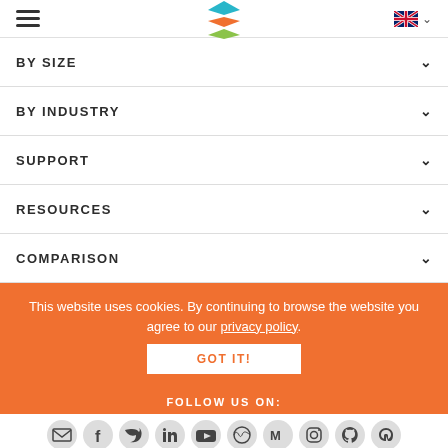Navigation header with hamburger menu, logo, and language selector
BY SIZE
BY INDUSTRY
SUPPORT
RESOURCES
COMPARISON
This website uses cookies. By continuing to browse the website you agree to our privacy policy.
GOT IT!
FOLLOW US ON:
[Figure (illustration): Row of social media icons: email, Facebook, Twitter, LinkedIn, YouTube, WordPress, Medium, Instagram, GitHub, Mastodon]